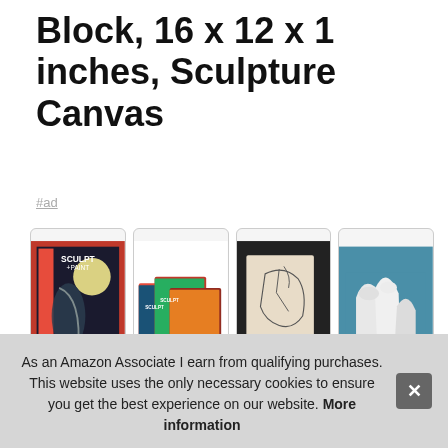Block, 16 x 12 x 1 inches, Sculpture Canvas
#ad
[Figure (photo): Four product images in thumbnail boxes: (1) Sculpt+Paint book cover with moon and figure art, (2) Multiple Sculpt+Paint book covers fanned out, (3) Beige sculpture block with sketched outline drawing, (4) White sculptural relief of hooded figures on teal background]
Sculpture Block #ad - Easily shaped using a rasp, scraper, chisel or file and can be refined with sandpaper. Glue pieces together with white glue for larger sculptures, or use for a group project. Each block contains fine details...
As an Amazon Associate I earn from qualifying purchases. This website uses the only necessary cookies to ensure you get the best experience on our website. More information
More information #ad